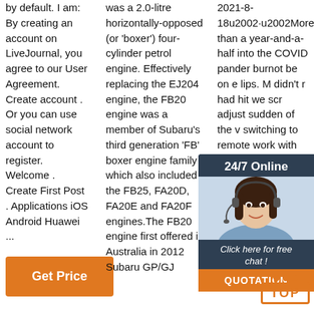by default. I am: By creating an account on LiveJournal, you agree to our User Agreement. Create account . Or you can use social network account to register. Welcome . Create First Post . Applications iOS Android Huawei ...
[Figure (other): Orange 'Get Price' button]
was a 2.0-litre horizontally-opposed (or 'boxer') four-cylinder petrol engine. Effectively replacing the EJ204 engine, the FB20 engine was a member of Subaru's third generation 'FB' boxer engine family which also included the FB25, FA20D, FA20E and FA20F engines.The FB20 engine first offered in Australia in 2012 Subaru GP/GJ
2021-8-18u2002·u2002More than a year-and-a-half into the COVID pander burnot be on e lips. M didn't r had hit we scr adjust sudden of the v switching to remote work with little or no preparation, or deemed an essential worker and asked to
[Figure (photo): Chat widget with woman wearing headset, '24/7 Online' header, 'Click here for free chat!' text, orange QUOTATION button]
[Figure (other): Orange 'TOP' button with orange dots above]